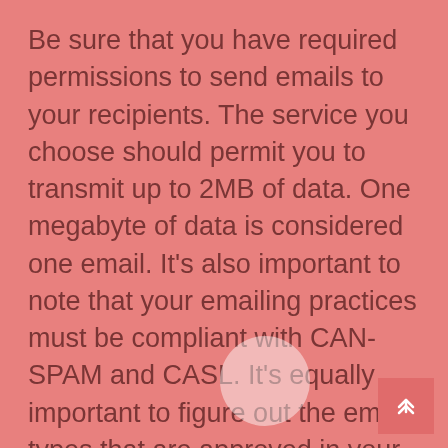Be sure that you have required permissions to send emails to your recipients. The service you choose should permit you to transmit up to 2MB of data. One megabyte of data is considered one email. It's also important to note that your emailing practices must be compliant with CAN-SPAM and CASL. It's equally important to figure out the email types that are approved in your ESP. It will allow your emails get to your inbox faster.
The most popular mail delivery services have a variety of options. Included in them are Mailgun as well as Sparkpost. They come with a host of benefits which make them an ideal